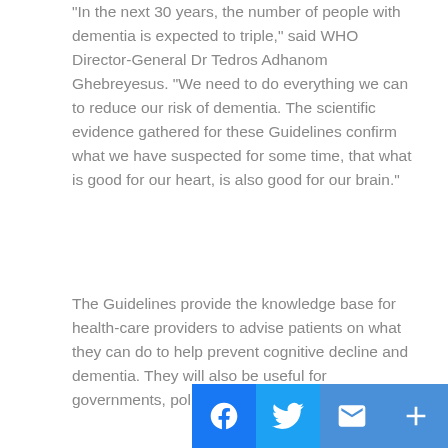“In the next 30 years, the number of people with dementia is expected to triple,” said WHO Director-General Dr Tedros Adhanom Ghebreyesus. “We need to do everything we can to reduce our risk of dementia. The scientific evidence gathered for these Guidelines confirm what we have suspected for some time, that what is good for our heart, is also good for our brain.”
The Guidelines provide the knowledge base for health-care providers to advise patients on what they can do to help prevent cognitive decline and dementia. They will also be useful for governments, policy-makers